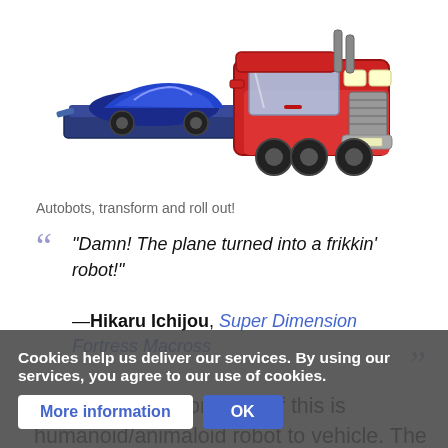[Figure (illustration): Cartoon illustration of a red semi truck/tractor-trailer (Optimus Prime style) carrying a blue sports car on its flatbed, viewed from a front-right angle.]
Autobots, transform and roll out!
"Damn! The plane turned into a frikkin' robot!" —Hikaru Ichijou, Super Dimension Fortress Macross
The most common form of this is humanoid/animaloid robot to vehicle. The vehicle and humanoid form will most often share parts, characteristics and details. For instance, big tough robots will change into trucks and tanks, while light, fast robots will shift into fighter jets or sports cars. The design of the robot form is usually done using elements from the vehicle as to make it visually plausible
Cookies help us deliver our services. By using our services, you agree to our use of cookies.